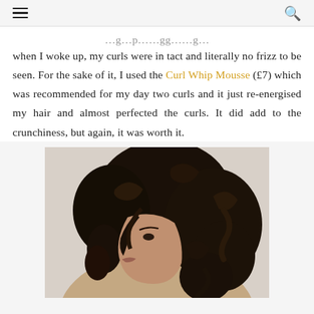≡  🔍
… g … p … gg … g when I woke up, my curls were in tact and literally no frizz to be seen. For the sake of it, I used the Curl Whip Mousse (£7) which was recommended for my day two curls and it just re-energised my hair and almost perfected the curls. It did add to the crunchiness, but again, it was worth it.
[Figure (photo): Side profile photo of a woman with long, dark, voluminous curly hair against a light background.]